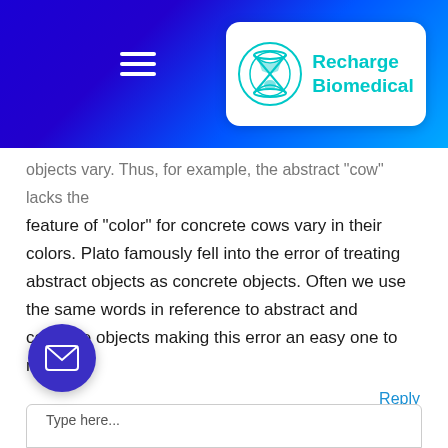Recharge Biomedical
objects vary. Thus, for example, the abstract "cow" lacks the feature of "color" for concrete cows vary in their colors. Plato famously fell into the error of treating abstract objects as concrete objects. Often we use the same words in reference to abstract and concrete objects making this error an easy one to make.
Reply
Leave a Comment
Your email address will not be published. Required fields are